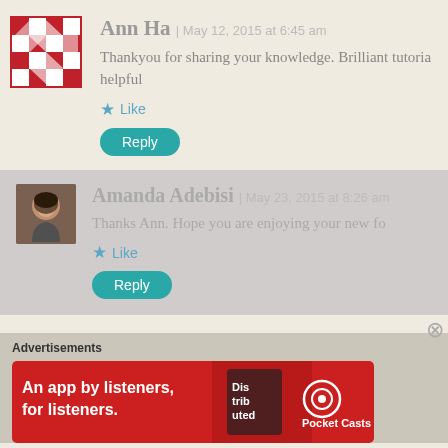[Figure (illustration): Gravatar avatar with red and white checkerboard/diamond pattern]
Ann Ha | May 12, 2015 at 6:45 am
Thankyou for sharing your knowledge. Brilliant tutoria... helpful
Like
Reply
[Figure (photo): Profile photo of Amanda Adebisi, a woman with dark hair]
Amanda Adebisi | May 23, 2015 at 8:26 am
Thanks Ann. Hope you are enjoying your new fo...
Like
Reply
Advertisements
[Figure (infographic): Pocket Casts app advertisement banner: red background with white text 'An app by listeners, for listeners.' and Pocket Casts logo on right with phone image]